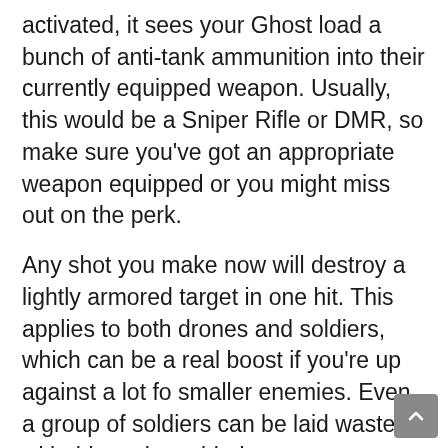activated, it sees your Ghost load a bunch of anti-tank ammunition into their currently equipped weapon. Usually, this would be a Sniper Rifle or DMR, so make sure you've got an appropriate weapon equipped or you might miss out on the perk.
Any shot you make now will destroy a lightly armored target in one hit. This applies to both drones and soldiers, which can be a real boost if you're up against a lot fo smaller enemies. Even a group of soldiers can be laid waste to with this perk enabled.
If you're not sure just how to activate this perk, it's quite simple. You need to press the shoulder buttons simultaneously, and that will activate your Ghost loading that aforementioned ammo. From there you